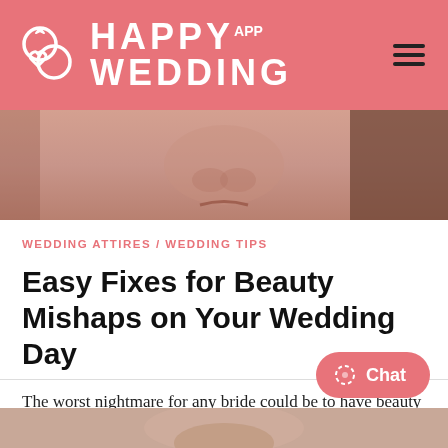HAPPY WEDDING APP
[Figure (photo): Close-up photo of bride's face/makeup area]
WEDDING ATTIRES / WEDDING TIPS
Easy Fixes for Beauty Mishaps on Your Wedding Day
The worst nightmare for any bride could be to have beauty mishaps just on the wedding day. As a bride you're surely working out to get your body in perfect ...
[Figure (photo): Bottom partial photo of person]